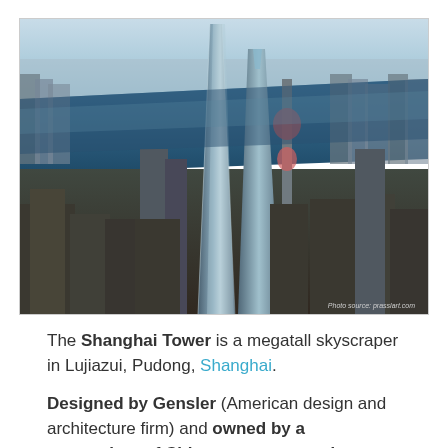[Figure (photo): Aerial photograph of Shanghai skyline featuring the Shanghai Tower (tallest, twisted glass skyscraper), Shanghai World Financial Center (trapezoid top), and Oriental Pearl Tower (pink sphere), with the Huangpu River in the background and dense urban cityscape. Photo credit: prasslart.com]
The Shanghai Tower is a megatall skyscraper in Lujiazui, Pudong, Shanghai.
Designed by Gensler (American design and architecture firm) and owned by a consortium of Chinese state-owned companies, it is the tallest of a group of three adjacent supertall buildings in Pudong, the other two being the Jin